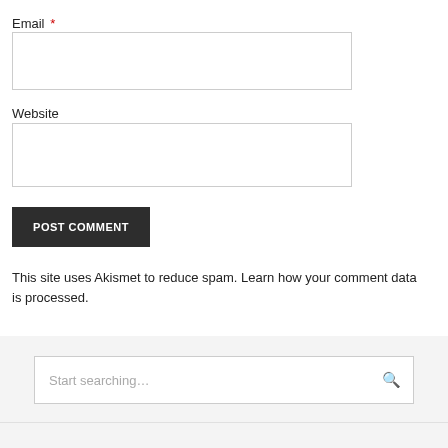Email *
[Figure (screenshot): Email input text field, empty, with light grey border]
Website
[Figure (screenshot): Website input text field, empty, with light grey border]
POST COMMENT
This site uses Akismet to reduce spam. Learn how your comment data is processed.
[Figure (screenshot): Search bar with placeholder text 'Start searching…' and a magnifying glass icon, on a light grey background]